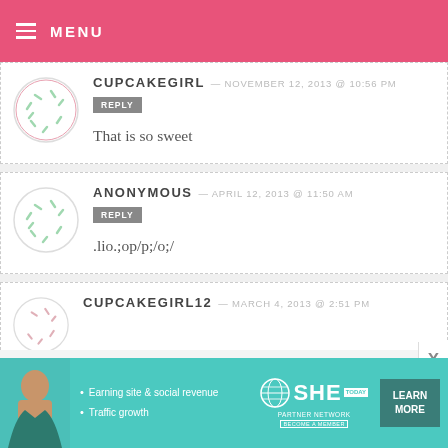MENU
CUPCAKEGIRL — NOVEMBER 12, 2013 @ 10:56 PM REPLY
That is so sweet
ANONYMOUS — APRIL 12, 2013 @ 11:50 AM REPLY
.lio.;op/p;/o;/
CUPCAKEGIRL12 — MARCH 4, 2013 @ 2:51 PM
[Figure (infographic): SHE Partner Network advertisement banner with photo of a woman, bullet points 'Earning site & social revenue' and 'Traffic growth', SHE logo, LEARN MORE button]